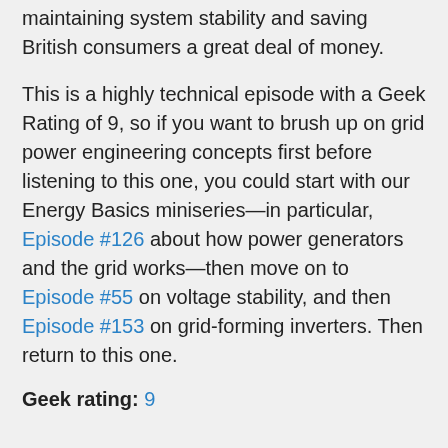maintaining system stability and saving British consumers a great deal of money.
This is a highly technical episode with a Geek Rating of 9, so if you want to brush up on grid power engineering concepts first before listening to this one, you could start with our Energy Basics miniseries—in particular, Episode #126 about how power generators and the grid works—then move on to Episode #55 on voltage stability, and then Episode #153 on grid-forming inverters. Then return to this one.
Geek rating: 9